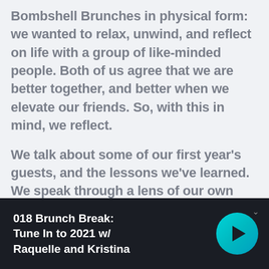Bombshell Brunches in physical form: we wanted to relax, unwind, and reflect on life with a group of like-minded people. Both of us agree that we are better together, and better when we elevate our friends. So, with this in mind, we reflect.
We talk about some of our first year's guests, and the lessons we've learned. We speak through a lens of our own learning, with the intention that it helps YOU get one
018 Brunch Break: Tune In to 2021 w/ Raquelle and Kristina